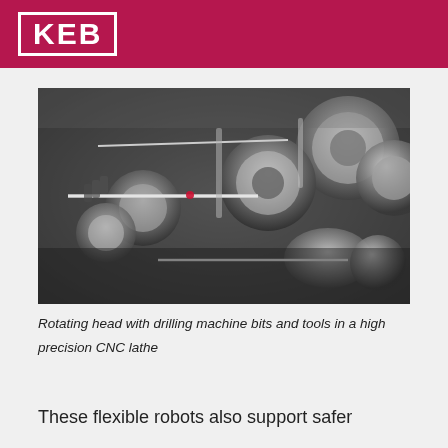KEB
[Figure (photo): Rotating head with drilling machine bits and tools in a high precision CNC lathe — close-up photograph showing metallic drill bits and cylindrical tool holders in grayscale/sepia tones]
Rotating head with drilling machine bits and tools in a high precision CNC lathe
These flexible robots also support safer